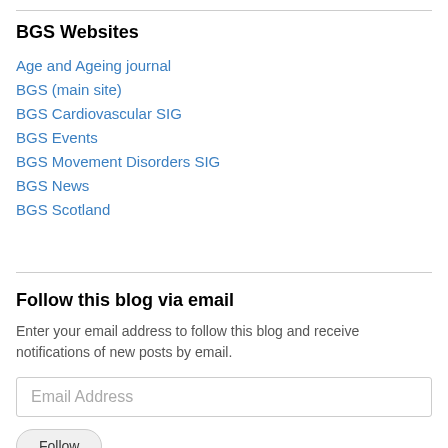BGS Websites
Age and Ageing journal
BGS (main site)
BGS Cardiovascular SIG
BGS Events
BGS Movement Disorders SIG
BGS News
BGS Scotland
Follow this blog via email
Enter your email address to follow this blog and receive notifications of new posts by email.